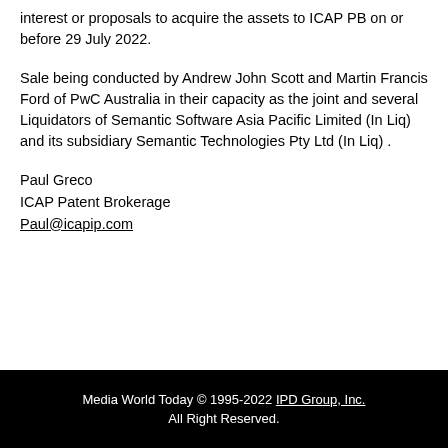interest or proposals to acquire the assets to ICAP PB on or before 29 July 2022.
Sale being conducted by Andrew John Scott and Martin Francis Ford of PwC Australia in their capacity as the joint and several Liquidators of Semantic Software Asia Pacific Limited (In Liq) and its subsidiary Semantic Technologies Pty Ltd (In Liq) .
Paul Greco
ICAP Patent Brokerage
Paul@icapip.com
Media World Today © 1995-2022 IPD Group, Inc. All Right Reserved.